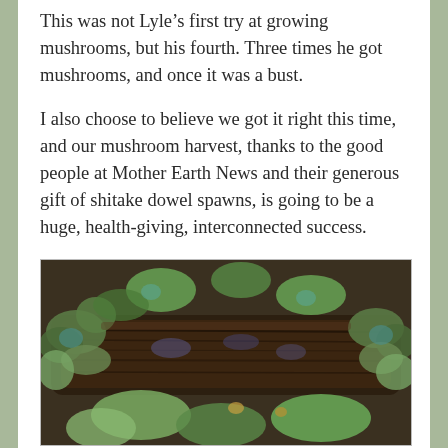This was not Lyle's first try at growing mushrooms, but his fourth. Three times he got mushrooms, and once it was a bust.
I also choose to believe we got it right this time, and our mushroom harvest, thanks to the good people at Mother Earth News and their generous gift of shitake dowel spawns, is going to be a huge, health-giving, interconnected success.
[Figure (photo): A close-up photograph of a mossy, lichen-covered log or piece of wood surrounded by green and teal-colored lichen/moss growth, likely a shiitake mushroom growing log.]